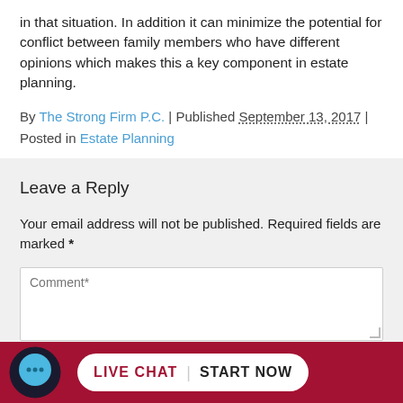in that situation. In addition it can minimize the potential for conflict between family members who have different opinions which makes this a key component in estate planning.
By The Strong Firm P.C. | Published September 13, 2017 | Posted in Estate Planning
Leave a Reply
Your email address will not be published. Required fields are marked *